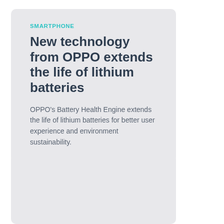SMARTPHONE
New technology from OPPO extends the life of lithium batteries
OPPO's Battery Health Engine extends the life of lithium batteries for better user experience and environment sustainability.
[Figure (other): Empty gray card placeholder at bottom of page]